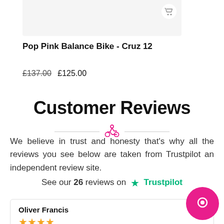[Figure (other): Product listing image area for balance bike (grey background, partially visible)]
Pop Pink Balance Bike - Cruz 12
£137.00  £125.00
Customer Reviews
We believe in trust and honesty that's why all the reviews you see below are taken from Trustpilot an independent review site.
See our 26 reviews on Trustpilot
Oliver Francis
★★★★★